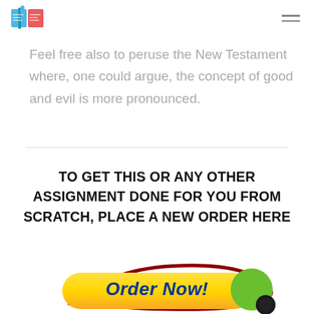Feel free also to peruse the New Testament where, one could argue, the concept of good and evil is more pronounced.
TO GET THIS OR ANY OTHER ASSIGNMENT DONE FOR YOU FROM SCRATCH, PLACE A NEW ORDER HERE
[Figure (illustration): Yellow 'Order Now!' button with dark red swirl and green circle, call-to-action graphic]